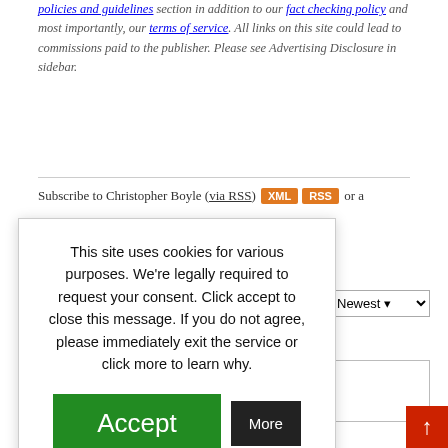policies and guidelines section in addition to our fact checking policy and most importantly, our terms of service. All links on this site could lead to commissions paid to the publisher. Please see Advertising Disclosure in sidebar.
Subscribe to Christopher Boyle (via RSS) XML RSS or a
This site uses cookies for various purposes. We're legally required to request your consent. Click accept to close this message. If you do not agree, please immediately exit the service or click more to learn why.
Accept
More
Facebook Comments Plugin